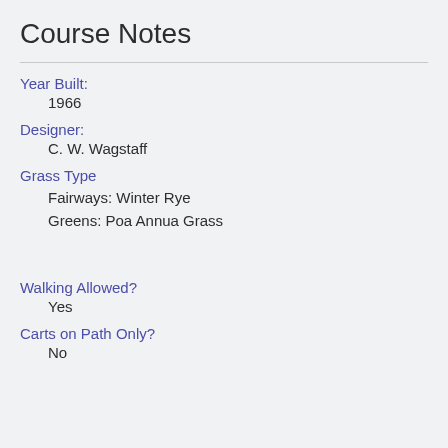Course Notes
Year Built:
1966
Designer:
C. W. Wagstaff
Grass Type
Fairways: Winter Rye
Greens: Poa Annua Grass
Walking Allowed?
Yes
Carts on Path Only?
No